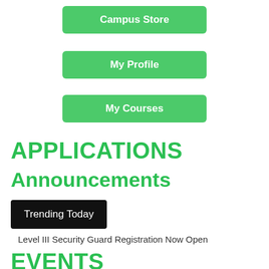[Figure (screenshot): Green button labeled Campus Store]
[Figure (screenshot): Green button labeled My Profile]
[Figure (screenshot): Green button labeled My Courses]
APPLICATIONS
Announcements
Trending Today
Level III Security Guard Registration Now Open
EVENTS